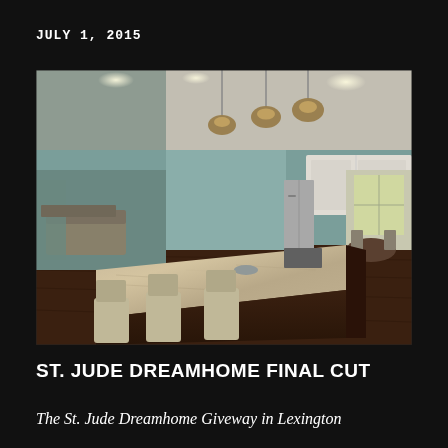JULY 1, 2015
[Figure (photo): Interior photo of an open-concept kitchen and living area with a large granite island, pendant lights, white cabinets, stainless steel appliances, dark hardwood floors, and a dining area visible in the background.]
ST. JUDE DREAMHOME FINAL CUT
The St. Jude Dreamhome Giveway in Lexington